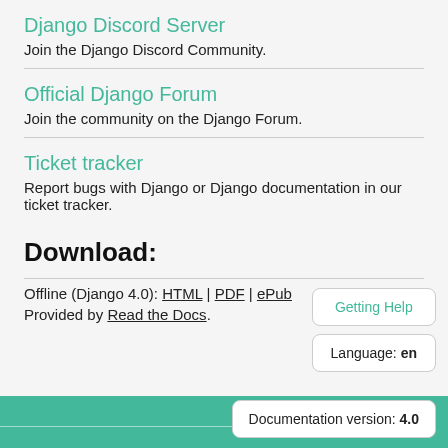Django Discord Server
Join the Django Discord Community.
Official Django Forum
Join the community on the Django Forum.
Ticket tracker
Report bugs with Django or Django documentation in our ticket tracker.
Download:
Offline (Django 4.0): HTML | PDF | ePub
Provided by Read the Docs.
Getting Help
Language: en
Documentation version: 4.0